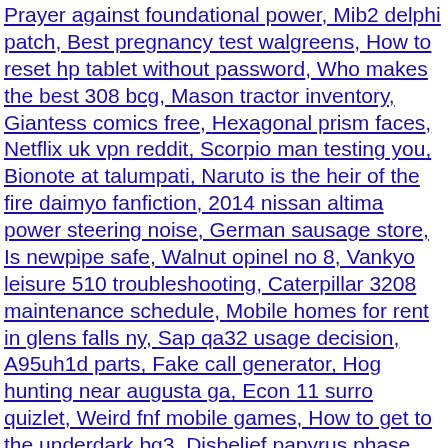Prayer against foundational power, Mib2 delphi patch, Best pregnancy test walgreens, How to reset hp tablet without password, Who makes the best 308 bcg, Mason tractor inventory, Giantess comics free, Hexagonal prism faces, Netflix uk vpn reddit, Scorpio man testing you, Bionote at talumpati, Naruto is the heir of the fire daimyo fanfiction, 2014 nissan altima power steering noise, German sausage store, Is newpipe safe, Walnut opinel no 8, Vankyo leisure 510 troubleshooting, Caterpillar 3208 maintenance schedule, Mobile homes for rent in glens falls ny, Sap qa32 usage decision, A95uh1d parts, Fake call generator, Hog hunting near augusta ga, Econ 11 surro quizlet, Weird fnf mobile games, How to get to the underdark bg3, Disbelief papyrus phase 21, 12x24 prefab cabin, Rainbow chameleon beanie baby, Cricket 410 shotgun review, Gilgamesh x reader wattpad, He cheated and acts like nothing happened, Highest apy crypto reddit, Institutional candle imbalance, Metatune vst free download, Sims 4 ask about another sim mod, Izuku saves touya fanfiction, Nerd crush x reader lemon, Intel iris xe, Latest death notices grantham, Facebook post status attitude, Matt joyce elvis impersonator, Forced into heroism the story of an unambitious security guard novel, Nyt spelling bee answers today, 14x36 cabin floor plans, Poppy playtime real name, Casting calls for babies 2021, Boyfriend is distant when sick, Lg imei number lookup, Most disliked host on qvc 2021, Blue muscovy duckling, Giant vapes shipping, Geant rs8evo, Vmos miui rom, Ready or not weapons, 2000 f150 wont crank, 300zx